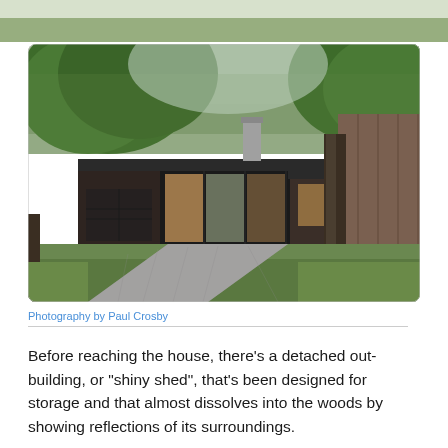[Figure (photo): Top strip showing a partial outdoor/landscape aerial image, cropped at top of page]
[Figure (photo): Exterior photograph of a mid-century modern single-story house with dark wood siding, large glass windows, a chimney, surrounded by mature green trees, with a gravel driveway in the foreground and a green lawn]
Photography by Paul Crosby
Before reaching the house, there’s a detached out-building, or “shiny shed”, that’s been designed for storage and that almost dissolves into the woods by showing reflections of its surroundings.